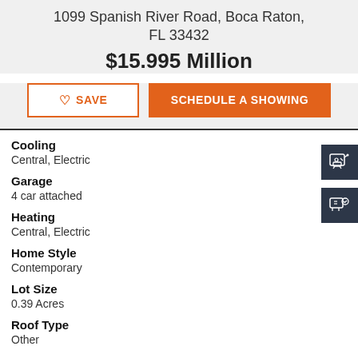1099 Spanish River Road, Boca Raton, FL 33432
$15.995 Million
SAVE
SCHEDULE A SHOWING
Cooling
Central, Electric
Garage
4 car attached
Heating
Central, Electric
Home Style
Contemporary
Lot Size
0.39 Acres
Roof Type
Other